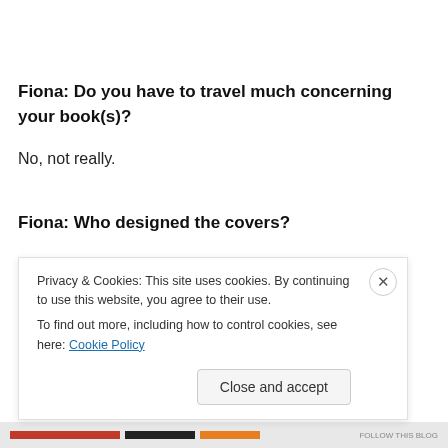Fiona: Do you have to travel much concerning your book(s)?
No, not really.
Fiona: Who designed the covers?
My publisher arranged all that.
Privacy & Cookies: This site uses cookies. By continuing to use this website, you agree to their use.
To find out more, including how to control cookies, see here: Cookie Policy